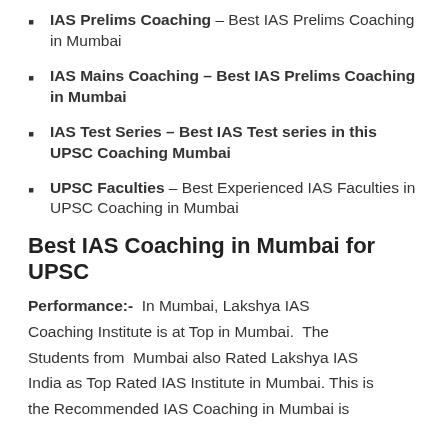IAS Prelims Coaching – Best IAS Prelims Coaching in Mumbai
IAS Mains Coaching – Best IAS Prelims Coaching in Mumbai
IAS Test Series – Best IAS Test series in this UPSC Coaching Mumbai
UPSC Faculties – Best Experienced IAS Faculties in UPSC Coaching in Mumbai
Best IAS Coaching in Mumbai for UPSC
Performance:- In Mumbai, Lakshya IAS Coaching Institute is at Top in Mumbai. The Students from Mumbai also Rated Lakshya IAS India as Top Rated IAS Institute in Mumbai. This is the Recommended IAS Coaching in Mumbai is